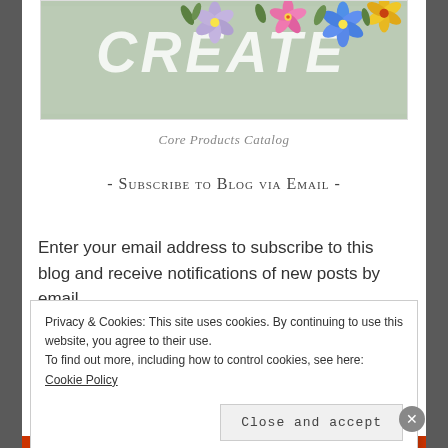[Figure (illustration): Partial view of a floral catalog cover image with sage green background and colorful paper flowers]
Core Products Catalog
- Subscribe to Blog via Email -
Enter your email address to subscribe to this blog and receive notifications of new posts by email.
Privacy & Cookies: This site uses cookies. By continuing to use this website, you agree to their use.
To find out more, including how to control cookies, see here: Cookie Policy

Close and accept